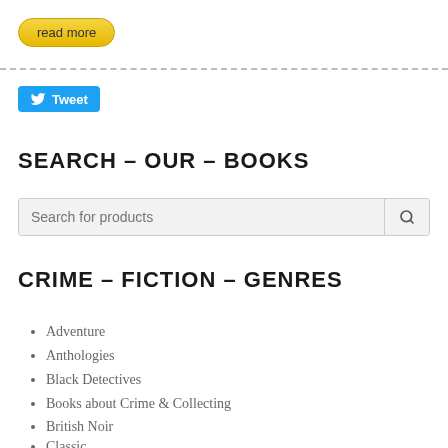[Figure (other): Yellow 'read more' button with rounded pill shape]
[Figure (other): Blue Twitter Tweet button with bird icon]
SEARCH – OUR – BOOKS
[Figure (other): Search input field with magnifying glass icon, placeholder 'Search for products']
CRIME – FICTION – GENRES
Adventure
Anthologies
Black Detectives
Books about Crime & Collecting
British Noir
Classic